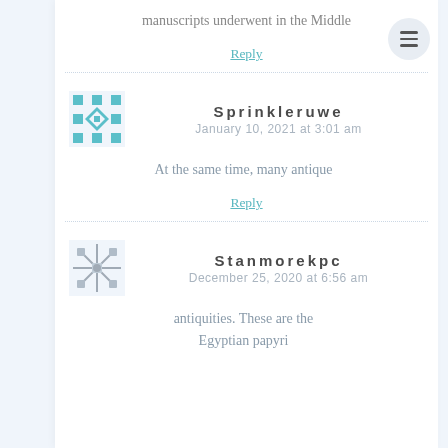manuscripts underwent in the Middle
Reply
Sprinkleruwe
January 10, 2021 at 3:01 am
At the same time, many antique
Reply
Stanmorekpc
December 25, 2020 at 6:56 am
antiquities. These are the Egyptian papyri